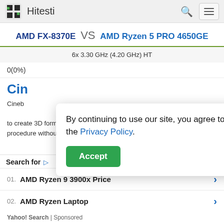Hitesti
AMD FX-8370E VS AMD Ryzen 5 PRO 4650GE
6x 3.30 GHz (4.20 GHz) HT
0(0%)
Cin
Cineb...sed to create 3D forms. The benchmark runs for single-core test procedure without counting of hyperthreading ability.
By continuing to use our site, you agree to the Privacy Policy.
Accept
[Figure (screenshot): Advertisement block with Search for header, listing AMD Ryzen 9 3900x Price and AMD Ryzen Laptop, sponsored by Yahoo! Search]